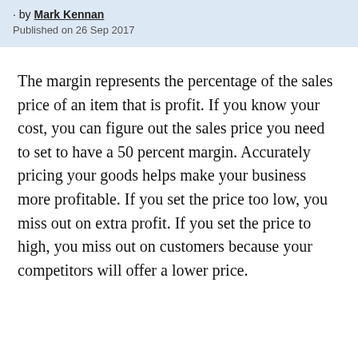by Mark Kennan
Published on 26 Sep 2017
The margin represents the percentage of the sales price of an item that is profit. If you know your cost, you can figure out the sales price you need to set to have a 50 percent margin. Accurately pricing your goods helps make your business more profitable. If you set the price too low, you miss out on extra profit. If you set the price to high, you miss out on customers because your competitors will offer a lower price.